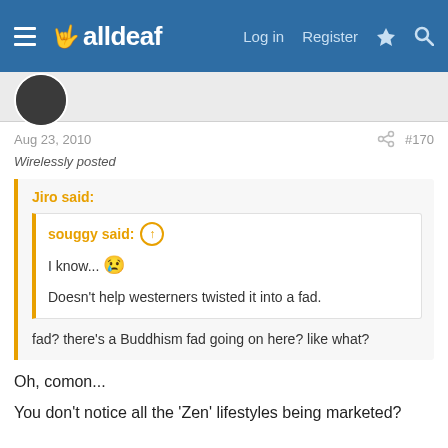alldeaf — Log in  Register
Aug 23, 2010  #170
Wirelessly posted
Jiro said:
souggy said: ↑
I know... 😢
Doesn't help westerners twisted it into a fad.
fad? there's a Buddhism fad going on here? like what?
Oh, comon...
You don't notice all the 'Zen' lifestyles being marketed?